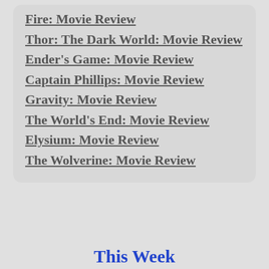Fire: Movie Review
Thor: The Dark World: Movie Review
Ender's Game: Movie Review
Captain Phillips: Movie Review
Gravity: Movie Review
The World's End: Movie Review
Elysium: Movie Review
The Wolverine: Movie Review
This Week